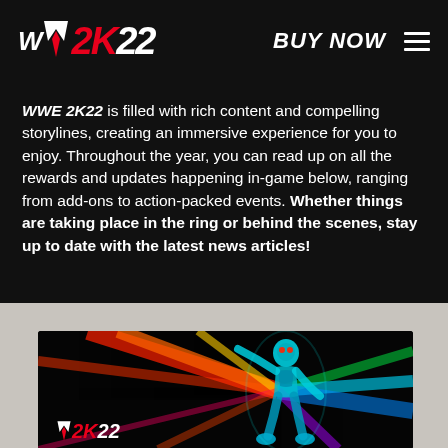WWE 2K22 | BUY NOW
WWE 2K22 is filled with rich content and compelling storylines, creating an immersive experience for you to enjoy. Throughout the year, you can read up on all the rewards and updates happening in-game below, ranging from add-ons to action-packed events. Whether things are taking place in the ring or behind the scenes, stay up to date with the latest news articles!
[Figure (illustration): WWE 2K22 game artwork showing a wrestler (Rey Mysterio) in colorful neon-lit artwork with the WWE 2K22 logo at the bottom]